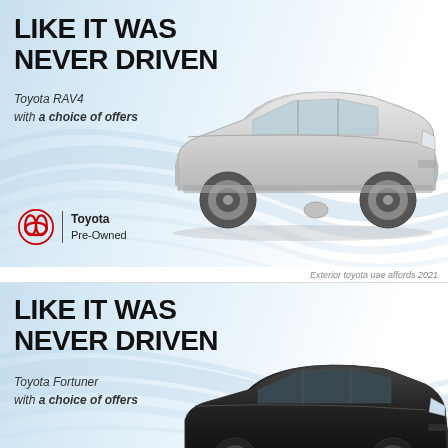[Figure (illustration): Toyota RAV4 pre-owned advertisement banner. Large bold text 'LIKE IT WAS NEVER DRIVEN', italic text 'Toyota RAV4 with a choice of offers', silver Toyota RAV4 SUV image, Toyota Pre-Owned logo, light blue swoosh background.]
Exterior toyota uae affords 2021
[Figure (illustration): Toyota Fortuner pre-owned advertisement banner. Large bold text 'LIKE IT WAS NEVER DRIVEN', italic text 'Toyota Fortuner with a choice of offers', black Toyota Fortuner SUV image, light blue swoosh background.]